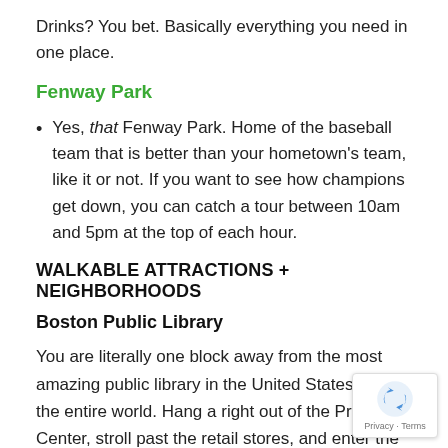Drinks? You bet. Basically everything you need in one place.
Fenway Park
Yes, that Fenway Park. Home of the baseball team that is better than your hometown's team, like it or not. If you want to see how champions get down, you can catch a tour between 10am and 5pm at the top of each hour.
WALKABLE ATTRACTIONS + NEIGHBORHOODS
Boston Public Library
You are literally one block away from the most amazing public library in the United States, if not the entire world. Hang a right out of the Prudential Center, stroll past the retail stores, and enter the BPL from the main entrance on Boylston Street. Follow the signs to the courtyard, and eventually make your way out toward the Dartmouth Street